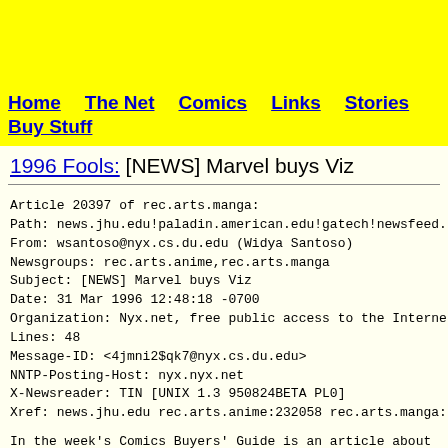Home  The Net  Comics  Links  Stories  Buy Stuff
1996 Fools: [NEWS] Marvel buys Viz
Article 20397 of rec.arts.manga:
Path: news.jhu.edu!paladin.american.edu!gatech!newsfeed.:
From: wsantoso@nyx.cs.du.edu (Widya Santoso)
Newsgroups: rec.arts.anime,rec.arts.manga
Subject: [NEWS] Marvel buys Viz
Date: 31 Mar 1996 12:48:18 -0700
Organization: Nyx.net, free public access to the Internet
Lines: 48
Message-ID: <4jmni2$qk7@nyx.cs.du.edu>
NNTP-Posting-Host: nyx.nyx.net
X-Newsreader: TIN [UNIX 1.3 950824BETA PL0]
Xref: news.jhu.edu rec.arts.anime:232058 rec.arts.manga:
In the week's Comics Buyers' Guide is an article about the
of Viz Communications by the Marvel Comics Group.  Writte
writer Paolo L. Fri from a press release issued by Marvel
this statement comes after several months of negotiation
Communications' parent company in Japan, Shogakukan.  Sho